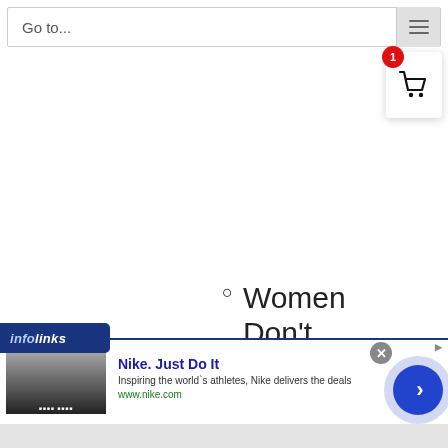Go to...
[Figure (screenshot): Shopping cart icon with red notification badge showing 1 item]
Women Don't Have To
[Figure (screenshot): Infolinks ad banner with Nike advertisement: 'Nike. Just Do It - Inspiring the world's athletes, Nike delivers the deals - www.nike.com'. Includes close button and next arrow button.]